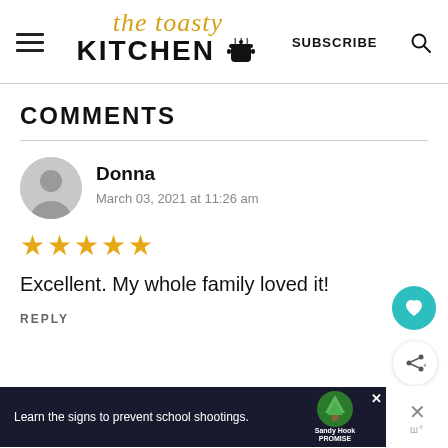[Figure (logo): The Toasty Kitchen logo with cursive 'the toasty' text and bold 'KITCHEN' with a pot icon, plus hamburger menu, SUBSCRIBE link, and search icon in the header]
COMMENTS
Donna
March 03, 2021 at 11:26 am
[Figure (other): Five gold/yellow star rating icons]
Excellent. My whole family loved it!
REPLY
[Figure (other): Ad banner: Learn the signs to prevent school shootings. Sandy Hook Promise logo]